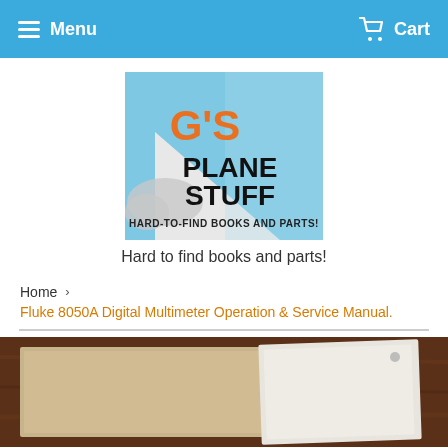Menu   Cart
[Figure (logo): G's Plane Stuff logo - airplane tail with orange G'S text, PLANE STUFF below, tagline HARD-TO-FIND BOOKS AND PARTS! on sky blue background with clouds]
Hard to find books and parts!
Home > Fluke 8050A Digital Multimeter Operation & Service Manual.
[Figure (photo): Photo of a book/manual on a wooden surface]